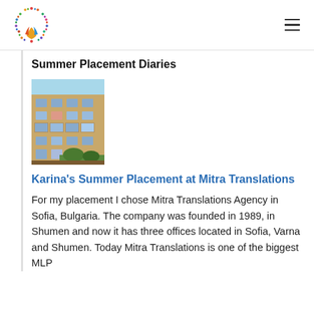Summer Placement Diaries
[Figure (photo): Photograph of a multi-storey residential or office building with balconies, taken from below, with a blue sky in the background.]
Karina's Summer Placement at Mitra Translations
For my placement I chose Mitra Translations Agency in Sofia, Bulgaria. The company was founded in 1989, in Shumen and now it has three offices located in Sofia, Varna and Shumen. Today Mitra Translations is one of the biggest MLP